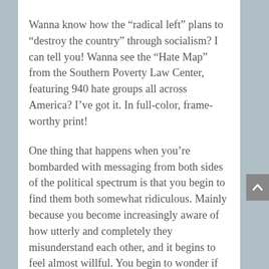Wanna know how the “radical left” plans to “destroy the country” through socialism? I can tell you! Wanna see the “Hate Map” from the Southern Poverty Law Center, featuring 940 hate groups all across America? I’ve got it. In full-color, frame-worthy print!
One thing that happens when you’re bombarded with messaging from both sides of the political spectrum is that you begin to find them both somewhat ridiculous. Mainly because you become increasingly aware of how utterly and completely they misunderstand each other, and it begins to feel almost willful. You begin to wonder if the right and the left are even remotely